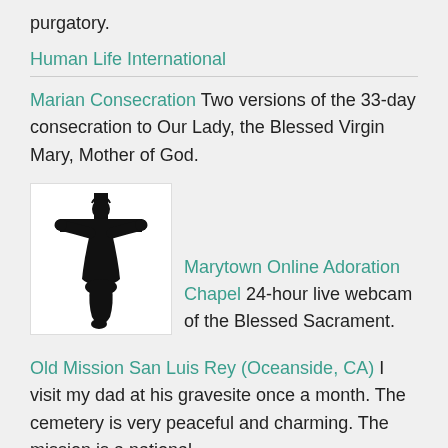purgatory.
Human Life International
Marian Consecration Two versions of the 33-day consecration to Our Lady, the Blessed Virgin Mary, Mother of God.
[Figure (illustration): Black and white illustration of Jesus Christ on the cross (crucifix silhouette)]
Marytown Online Adoration Chapel 24-hour live webcam of the Blessed Sacrament.
Old Mission San Luis Rey (Oceanside, CA) I visit my dad at his gravesite once a month. The cemetery is very peaceful and charming. The mission is a national